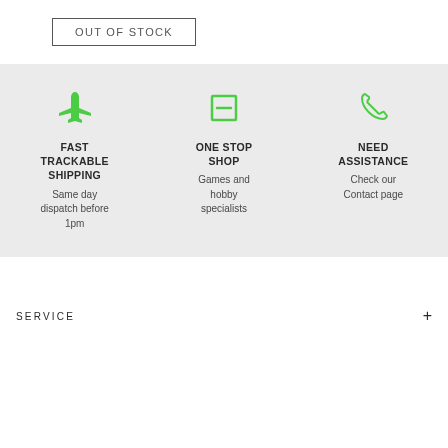OUT OF STOCK
[Figure (infographic): Three-column feature section on grey background. Column 1: green airplane icon, 'FAST TRACKABLE SHIPPING', 'Same day dispatch before 1pm'. Column 2: green box/tag icon, 'ONE STOP SHOP', 'Games and hobby specialists'. Column 3: green phone icon, 'NEED ASSISTANCE', 'Check our Contact page'.]
SERVICE +